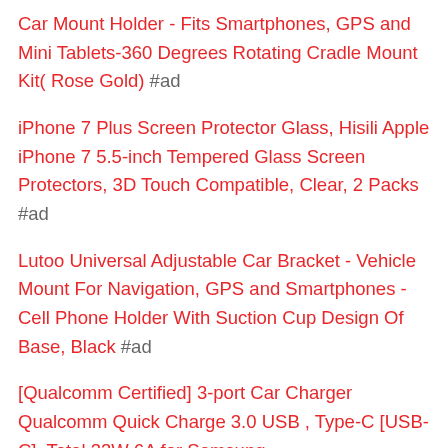Car Mount Holder - Fits Smartphones, GPS and Mini Tablets-360 Degrees Rotating Cradle Mount Kit( Rose Gold) #ad
iPhone 7 Plus Screen Protector Glass, Hisili Apple iPhone 7 5.5-inch Tempered Glass Screen Protectors, 3D Touch Compatible, Clear, 2 Packs #ad
Lutoo Universal Adjustable Car Bracket - Vehicle Mount For Navigation, GPS and Smartphones - Cell Phone Holder With Suction Cup Design Of Base, Black #ad
[Qualcomm Certified] 3-port Car Charger Qualcomm Quick Charge 3.0 USB , Type-C [USB-C], Total 33W 6A for Samsung, #ad